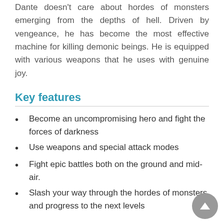Dante doesn't care about hordes of monsters emerging from the depths of hell. Driven by vengeance, he has become the most effective machine for killing demonic beings. He is equipped with various weapons that he uses with genuine joy.
Key features
Become an uncompromising hero and fight the forces of darkness
Use weapons and special attack modes
Fight epic battles both on the ground and mid-air.
Slash your way through the hordes of monsters and progress to the next levels